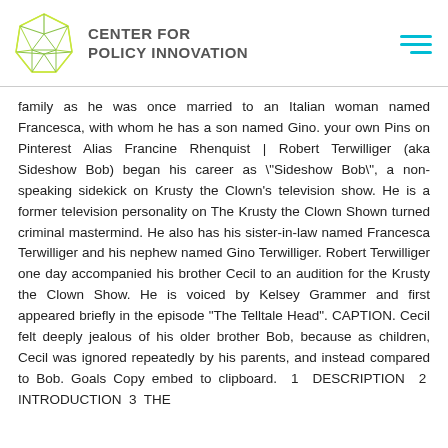CENTER FOR POLICY INNOVATION
family as he was once married to an Italian woman named Francesca, with whom he has a son named Gino. your own Pins on Pinterest Alias Francine Rhenquist | Robert Terwilliger (aka Sideshow Bob) began his career as "Sideshow Bob", a non-speaking sidekick on Krusty the Clown's television show. He is a former television personality on The Krusty the Clown Shown turned criminal mastermind. He also has his sister-in-law named Francesca Terwilliger and his nephew named Gino Terwilliger. Robert Terwilliger one day accompanied his brother Cecil to an audition for the Krusty the Clown Show. He is voiced by Kelsey Grammer and first appeared briefly in the episode "The Telltale Head". CAPTION. Cecil felt deeply jealous of his older brother Bob, because as children, Cecil was ignored repeatedly by his parents, and instead compared to Bob. Goals Copy embed to clipboard. 1 DESCRIPTION 2 INTRODUCTION 3 THE